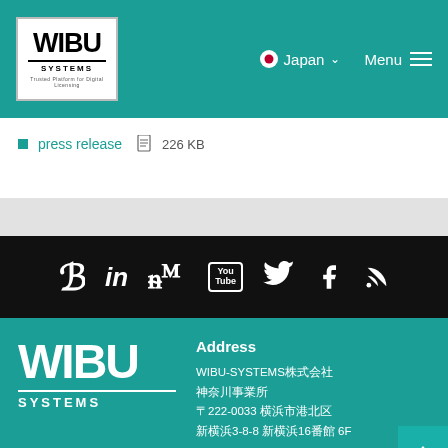WIBU SYSTEMS — Japan — Menu
press release 226 KB
[Figure (infographic): Social media icons row: Xing/B icon, LinkedIn (in), NNM waveform icon, YouTube, Twitter bird, Facebook f, RSS feed — white icons on black background]
[Figure (logo): WIBU SYSTEMS white logo on teal background]
Address
WIBU-SYSTEMS株式会社
神奈川事業所
〒222-0033 横浜市港北区
新横浜3-8-8 新横浜16番館 6F